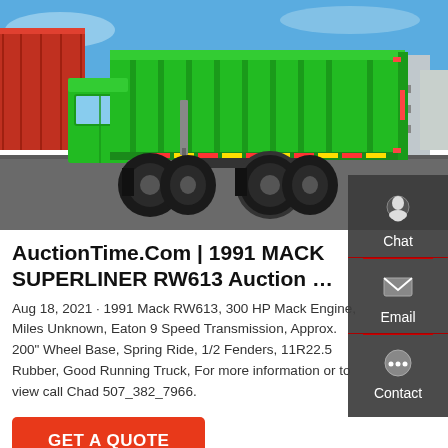[Figure (photo): A green dump truck (rear three-quarter view) parked on pavement with red shipping containers and buildings in the background under a blue sky.]
AuctionTime.Com | 1991 MACK SUPERLINER RW613 Auction …
Aug 18, 2021 · 1991 Mack RW613, 300 HP Mack Engine, Miles Unknown, Eaton 9 Speed Transmission, Approx. 200" Wheel Base, Spring Ride, 1/2 Fenders, 11R22.5 Rubber, Good Running Truck, For more information or to view call Chad 507_382_7966.
GET A QUOTE